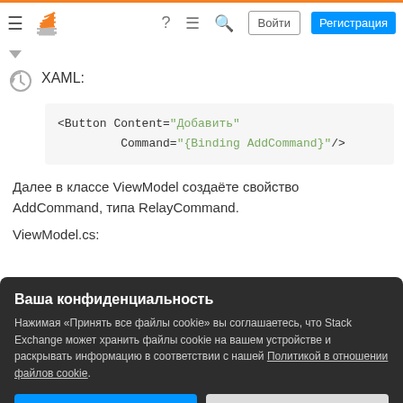Stack Overflow navigation bar with login and signup buttons
XAML:
Далее в классе ViewModel создаёте свойство AddCommand, типа RelayCommand.
ViewModel.cs:
Ваша конфиденциальность
Нажимая «Принять все файлы cookie» вы соглашаетесь, что Stack Exchange может хранить файлы cookie на вашем устройстве и раскрывать информацию в соответствии с нашей Политикой в отношении файлов cookie.
Класс RelayCommand реализует интерфейс